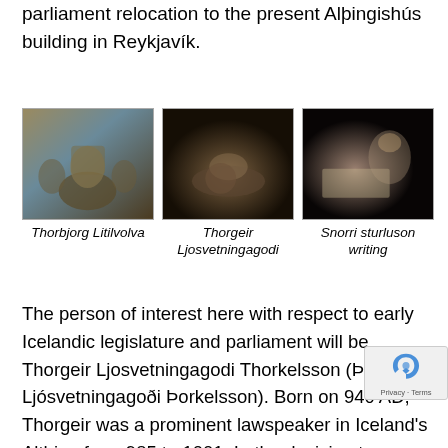parliament relocation to the present Alþingishús building in Reykjavík.
[Figure (photo): Museum display of Thorbjorg Litilvolva, a Norse woman figure seated among other figures in a historical scene]
Thorbjorg Litilvolva
[Figure (photo): Dark museum display of Thorgeir Ljosvetningagodi, a reclining figure in a dimly lit historical scene]
Thorgeir Ljosvetningagodi
[Figure (photo): Museum display of Snorri Sturluson writing, showing a figure reading or writing in a large book with dramatic lighting]
Snorri sturluson writing
The person of interest here with respect to early Icelandic legislature and parliament will be Thorgeir Ljosvetningagodi Thorkelsson (Þorgeir Ljósvetningagoði Þorkelsson). Born on 940 AD, Thorgeir was a prominent lawspeaker in Iceland's Althing from 985 to 1001. In the decision to Iceland's legislative assembly to adopt Norse paganism or Chr... Thorgeir played a key role for the island introduction and